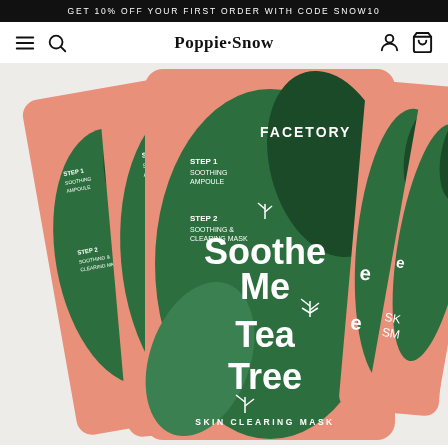GET 10% OFF YOUR FIRST ORDER WITH CODE SNOW10
Poppie Snow
[Figure (photo): Multiple FaceTory 'Soothe Me Tea Tree Skin Clearing Mask' product packages fanned out, showing green and salmon/pink packaging with large leaf graphics and white text reading 'Soothe Me Tea Tree Skin Clearing Mask'. Each package shows Step 1: Soothing Ampoule and Step 2: Soothing & Clearing Mask text.]